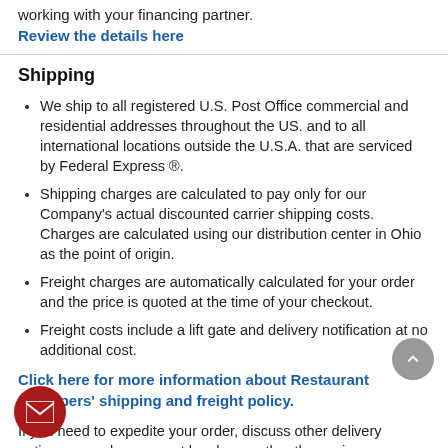working with your financing partner.
Review the details here
Shipping
We ship to all registered U.S. Post Office commercial and residential addresses throughout the US. and to all international locations outside the U.S.A. that are serviced by Federal Express ®.
Shipping charges are calculated to pay only for our Company's actual discounted carrier shipping costs. Charges are calculated using our distribution center in Ohio as the point of origin.
Freight charges are automatically calculated for your order and the price is quoted at the time of your checkout.
Freight costs include a lift gate and delivery notification at no additional cost.
Click here for more information about Restaurant Equippers' shipping and freight policy.
If you need to expedite your order, discuss other delivery options, or make payment by phone rather than using our secure website, 0-235-3325 during normal business hours for assistance.